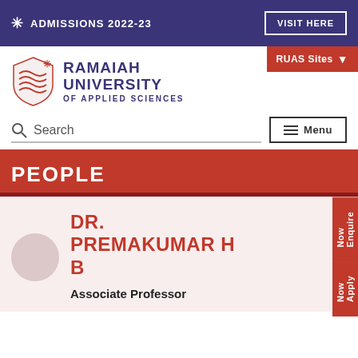ADMISSIONS 2022-23
[Figure (logo): Ramaiah University of Applied Sciences logo — shield with wave lines and asterisk]
RAMAIAH UNIVERSITY OF APPLIED SCIENCES
Search
Menu
PEOPLE
DR. PREMAKUMAR H B
Associate Professor